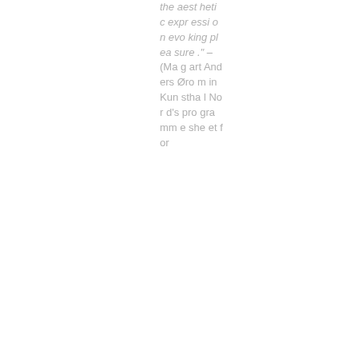the aesthetic expression evoking pleasure." (Maggart Anders Ørom in Kunsthal | Nord's programme sheet for